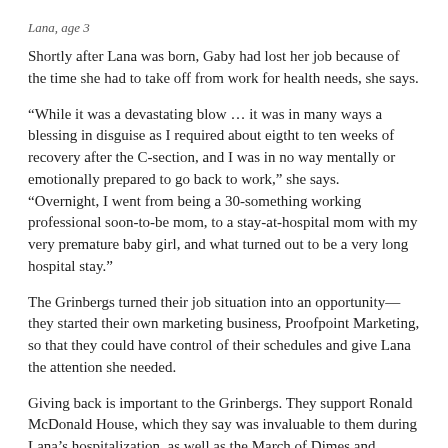Lana, age 3
Shortly after Lana was born, Gaby had lost her job because of the time she had to take off from work for health needs, she says.
“While it was a devastating blow … it was in many ways a blessing in disguise as I required about eigtht to ten weeks of recovery after the C-section, and I was in no way mentally or emotionally prepared to go back to work,” she says.
“Overnight, I went from being a 30-something working professional soon-to-be mom, to a stay-at-hospital mom with my very premature baby girl, and what turned out to be a very long hospital stay.”
The Grinbergs turned their job situation into an opportunity—they started their own marketing business, Proofpoint Marketing, so that they could have control of their schedules and give Lana the attention she needed.
Giving back is important to the Grinbergs. They support Ronald McDonald House, which they say was invaluable to them during Lana’s hospitalization, as well as the March of Dimes and